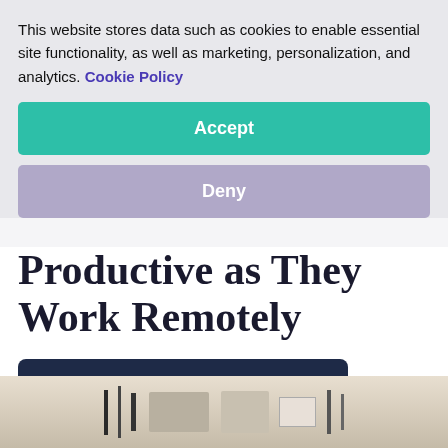This website stores data such as cookies to enable essential site functionality, as well as marketing, personalization, and analytics. Cookie Policy
Accept
Deny
How to Keep Your Employees Productive as They Work Remotely
Download the full White Paper
[Figure (photo): Bottom portion of a home office photo showing a shelf with books and decorative items]